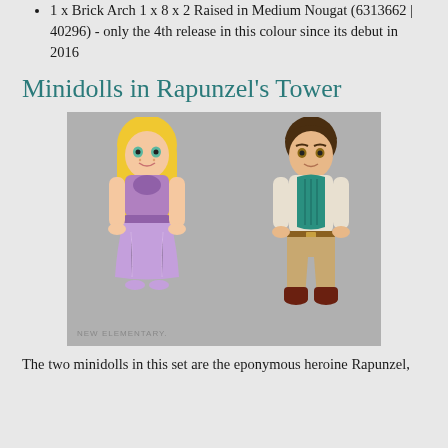1 x Brick Arch 1 x 8 x 2 Raised in Medium Nougat (6313662 | 40296) - only the 4th release in this colour since its debut in 2016
Minidolls in Rapunzel's Tower
[Figure (photo): Two LEGO minidolls: Rapunzel (blonde hair, purple dress) on the left and Flynn Rider (brown hair, teal vest, tan trousers, brown boots) on the right, photographed against a grey background. Watermark reads NEW ELEMENTARY.]
The two minidolls in this set are the eponymous heroine Rapunzel,